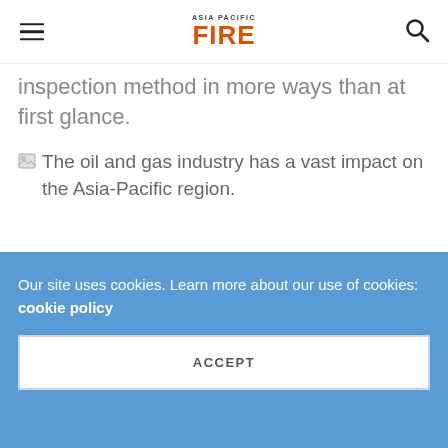ASIA PACIFIC FIRE
inspection method in more ways than at first glance.
[Figure (photo): Broken image placeholder with alt text: The oil and gas industry has a vast impact on the Asia-Pacific region.]
Our site uses cookies. Learn more about our use of cookies: cookie policy
ACCEPT